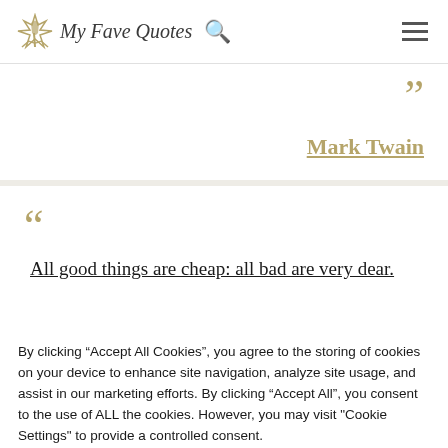My Fave Quotes
Mark Twain
“All good things are cheap: all bad are very dear.”
By clicking “Accept All Cookies”, you agree to the storing of cookies on your device to enhance site navigation, analyze site usage, and assist in our marketing efforts. By clicking “Accept All”, you consent to the use of ALL the cookies. However, you may visit "Cookie Settings" to provide a controlled consent.